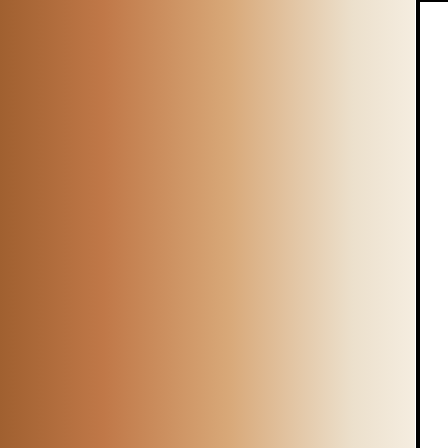Please note that all fields followed by
First Name*
Home Phone
Business Phone
E-mail Address
Please enter date & time to tour our home*
I'd love to know... How did you discover my website?
Please Contact Me To
Copyright © 2005 Yuki